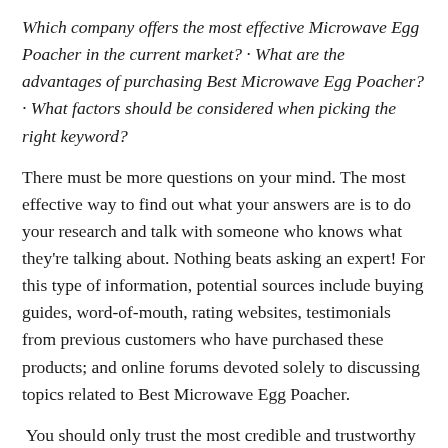Which company offers the most effective Microwave Egg Poacher in the current market? · What are the advantages of purchasing Best Microwave Egg Poacher? · What factors should be considered when picking the right keyword?
There must be more questions on your mind. The most effective way to find out what your answers are is to do your research and talk with someone who knows what they're talking about. Nothing beats asking an expert! For this type of information, potential sources include buying guides, word-of-mouth, rating websites, testimonials from previous customers who have purchased these products; and online forums devoted solely to discussing topics related to Best Microwave Egg Poacher.
You should only trust the most credible and trustworthy sources when making a decision. Our library provides objective, accurate information about the top Microwave